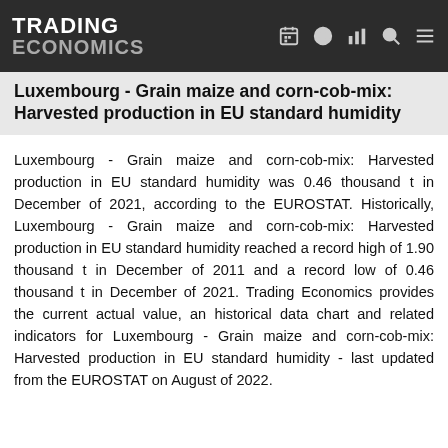TRADING ECONOMICS
Luxembourg - Grain maize and corn-cob-mix: Harvested production in EU standard humidity
Luxembourg - Grain maize and corn-cob-mix: Harvested production in EU standard humidity was 0.46 thousand t in December of 2021, according to the EUROSTAT. Historically, Luxembourg - Grain maize and corn-cob-mix: Harvested production in EU standard humidity reached a record high of 1.90 thousand t in December of 2011 and a record low of 0.46 thousand t in December of 2021. Trading Economics provides the current actual value, an historical data chart and related indicators for Luxembourg - Grain maize and corn-cob-mix: Harvested production in EU standard humidity - last updated from the EUROSTAT on August of 2022.